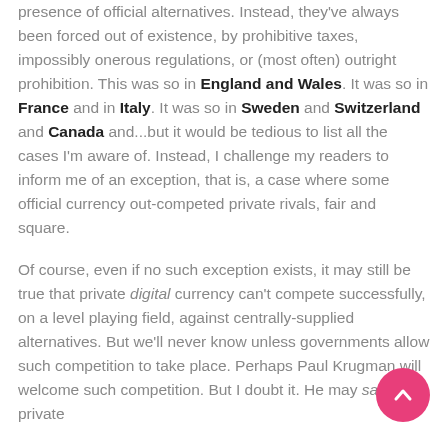presence of official alternatives. Instead, they've always been forced out of existence, by prohibitive taxes, impossibly onerous regulations, or (most often) outright prohibition. This was so in England and Wales. It was so in France and in Italy. It was so in Sweden and Switzerland and Canada and...but it would be tedious to list all the cases I'm aware of. Instead, I challenge my readers to inform me of an exception, that is, a case where some official currency out-competed private rivals, fair and square.
Of course, even if no such exception exists, it may still be true that private digital currency can't compete successfully, on a level playing field, against centrally-supplied alternatives. But we'll never know unless governments allow such competition to take place. Perhaps Paul Krugman will welcome such competition. But I doubt it. He may say that private
[Figure (other): Pink circular scroll-to-top button with upward chevron arrow]